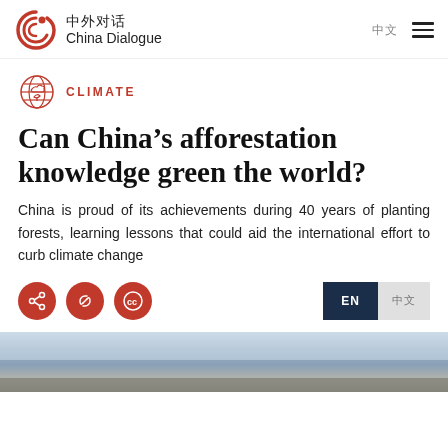中外对话 China Dialogue
CLIMATE
Can China's afforestation knowledge green the world?
China is proud of its achievements during 40 years of planting forests, learning lessons that could aid the international effort to curb climate change
[Figure (screenshot): Bottom landscape photo showing a misty/hazy horizon with sky and ground, partially visible at the bottom of the page]